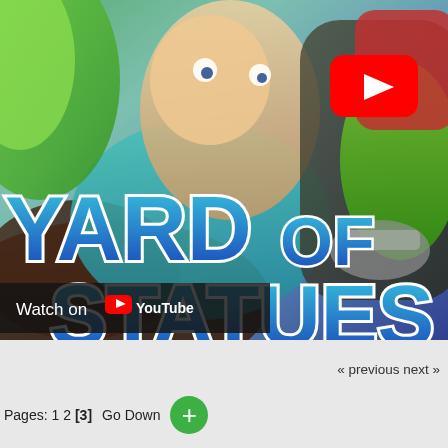[Figure (screenshot): YouTube thumbnail for 'Yard of Statues' video, showing colorful anime/game figurines/statues with a large stylized text logo 'YARD OF STATUES' and a YouTube play button icon in the upper right. A 'Watch on YouTube' bar is shown at the bottom left of the thumbnail.]
« previous next »
Pages: 1 2 [3]   Go Down  +